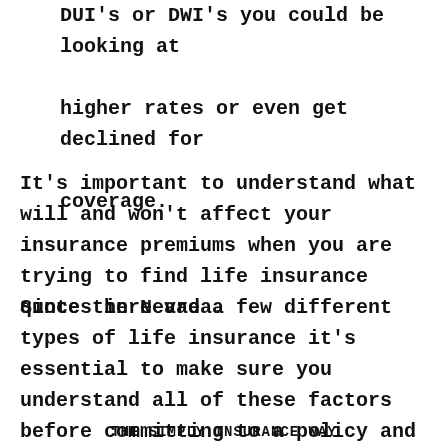DUI's or DWI's you could be looking at higher rates or even get declined for coverage.
It's important to understand what will and won't affect your insurance premiums when you are trying to find life insurance quotes in Nevada.
Since there are a few different types of life insurance it's essential to make sure you understand all of these factors before committing to a policy and signing papers.
THE SIMPLY INSURANCE WAY